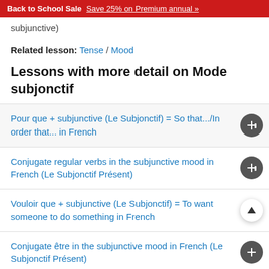Back to School Sale  Save 25% on Premium annual »
subjunctive)
Related lesson: Tense / Mood
Lessons with more detail on Mode subjonctif
Pour que + subjunctive (Le Subjonctif) = So that.../In order that... in French
Conjugate regular verbs in the subjunctive mood in French (Le Subjonctif Présent)
Vouloir que + subjunctive (Le Subjonctif) = To want someone to do something in French
Conjugate être in the subjunctive mood in French (Le Subjonctif Présent)
Conjugate aller in the subjunctive mood in French (Le